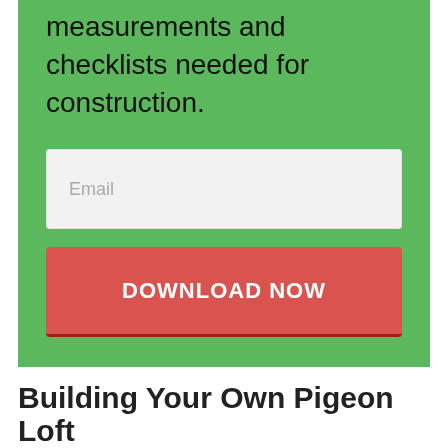measurements and checklists needed for construction.
[Figure (other): Email input field with placeholder text 'Email' on a green background]
[Figure (other): Red button with text 'DOWNLOAD NOW' on a green background]
Building Your Own Pigeon Loft
Many styles of pigeon lofts have been